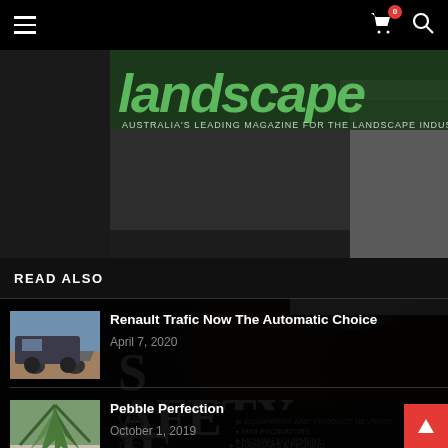Navigation bar with hamburger menu, cart icon with badge 0, and search icon
[Figure (screenshot): Landscape magazine cover showing safety issue with excavator and chainsaws. Headline includes 'SAFETY', equipment reviews: Mini Excavators, Mowing Equipment, Chainsaws & Pruning. Logo reads 'landscape' in green with '+Landscape MANAGER' overlay.]
READ ALSO
[Figure (photo): Thumbnail of Renault Trafic van driving on dirt road]
Renault Trafic Now The Automatic Choice
April 7, 2020
[Figure (photo): Thumbnail of succulent/agave plant in pebble garden]
Pebble Perfection
October 1, 2019
[Figure (photo): Thumbnail of person using orange lawn mower]
Choose the voltage that suits your work
February 24, 2021